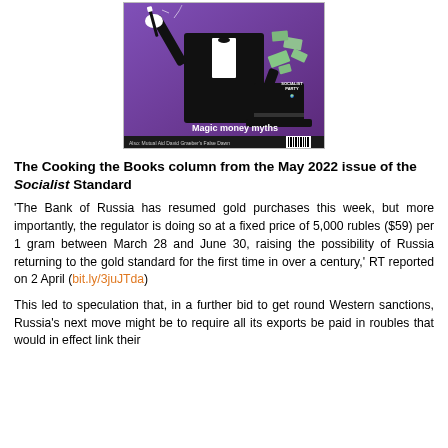[Figure (illustration): Cover of the Socialist Standard magazine showing a magician in black tuxedo with white gloves pulling money from a top hat against a purple background. Text reads 'Magic money myths'. Also lists: Mutual Aid, A Modern Money Tree?, British fascists online, David Graeber's False Dawn, A visit to New Lanark, The Strike. Has a barcode.]
The Cooking the Books column from the May 2022 issue of the Socialist Standard
'The Bank of Russia has resumed gold purchases this week, but more importantly, the regulator is doing so at a fixed price of 5,000 rubles ($59) per 1 gram between March 28 and June 30, raising the possibility of Russia returning to the gold standard for the first time in over a century,' RT reported on 2 April (bit.ly/3juJTda)
This led to speculation that, in a further bid to get round Western sanctions, Russia's next move might be to require all its exports be paid in roubles that would in effect link their